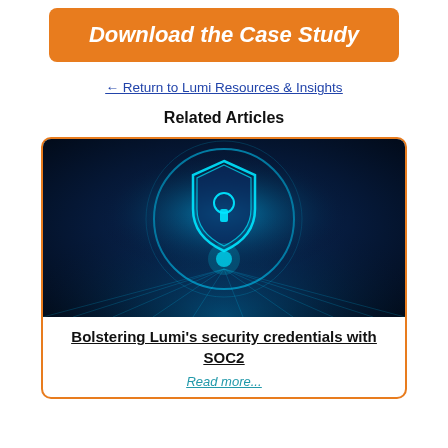[Figure (illustration): Orange button with text 'Download the Case Study' in white bold italic font on orange rounded rectangle background]
← Return to Lumi Resources & Insights
Related Articles
[Figure (photo): Digital security shield with keyhole icon glowing in blue, surrounded by circular light rings on dark blue background with rays of light on floor]
Bolstering Lumi's security credentials with SOC2
Read more...